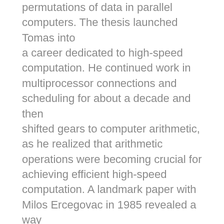permutations of data in parallel computers. The thesis launched Tomas into a career dedicated to high-speed computation. He continued work in multiprocessor connections and scheduling for about a decade and then shifted gears to computer arithmetic, as he realized that arithmetic operations were becoming crucial for achieving efficient high-speed computation. A landmark paper with Milos Ercegovac in 1985 revealed a way to speed up division by predicting quotient digits. He followed this work with many innovations in the field. His continuing collaboration with Milos resulted in a stunning collection of books on computer arithmetic. It is fair to say that these books shaped the teaching of